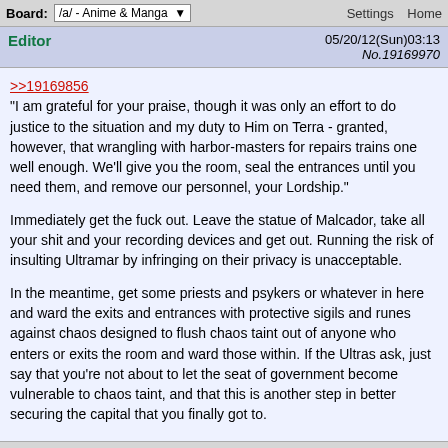Board: /a/ - Anime & Manga   Settings  Home
Editor   05/20/12(Sun)03:13  No.19169970
>>19169856
"I am grateful for your praise, though it was only an effort to do justice to the situation and my duty to Him on Terra - granted, however, that wrangling with harbor-masters for repairs trains one well enough. We'll give you the room, seal the entrances until you need them, and remove our personnel, your Lordship."

Immediately get the fuck out. Leave the statue of Malcador, take all your shit and your recording devices and get out. Running the risk of insulting Ultramar by infringing on their privacy is unacceptable.

In the meantime, get some priests and psykers or whatever in here and ward the exits and entrances with protective sigils and runes against chaos designed to flush chaos taint out of anyone who enters or exits the room and ward those within. If the Ultras ask, just say that you're not about to let the seat of government become vulnerable to chaos taint, and that this is another step in better securing the capital that you finally got to.

Unless they mean that they're leaving the planet, in which case bid them farewell with all due politeness.